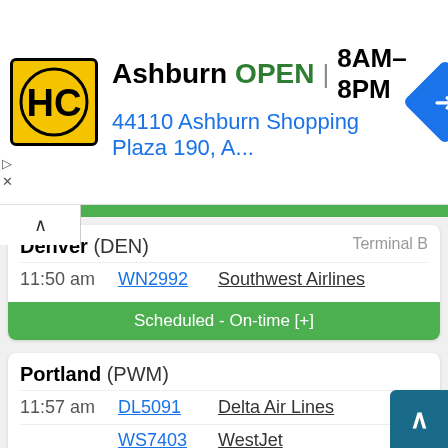[Figure (screenshot): Advertisement banner for HC (Home Depot or similar) store in Ashburn. Shows logo, OPEN status, hours 8AM-8PM, address 44110 Ashburn Shopping Plaza 190, A..., and a navigation arrow icon.]
Denver (DEN)   Terminal B
11:50 am   WN2992   Southwest Airlines
Scheduled - On-time [+]
Portland (PWM)
11:57 am   DL5091   Delta Air Lines
           WS7403   WestJet
Scheduled - On-time [+]
Montreal (YUL)
11:58 am   DL5211   Delta Air Lines
           WS7619   WestJet